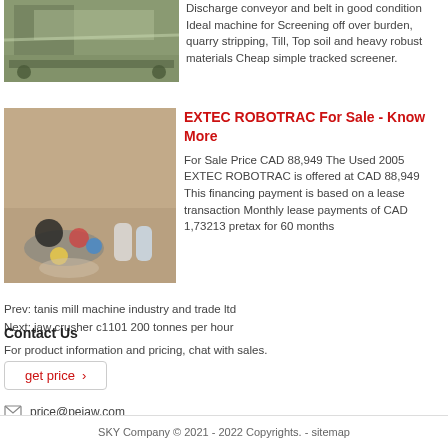[Figure (photo): Industrial machinery / conveyor equipment at a facility]
Discharge conveyor and belt in good condition Ideal machine for Screening off over burden, quarry stripping, Till, Top soil and heavy robust materials Cheap simple tracked screener.
[Figure (photo): Various parts and equipment on a floor, including colored items and bottles]
EXTEC ROBOTRAC For Sale - Know More
For Sale Price CAD 88,949 The Used 2005 EXTEC ROBOTRAC is offered at CAD 88,949 This financing payment is based on a lease transaction Monthly lease payments of CAD 1,73213 pretax for 60 months
Prev: tanis mill machine industry and trade ltd
Next: jaw crusher c1101 200 tonnes per hour
Contact Us
For product information and pricing, chat with sales.
get price ›
price@pejaw.com
SKY Company © 2021 - 2022 Copyrights. - sitemap